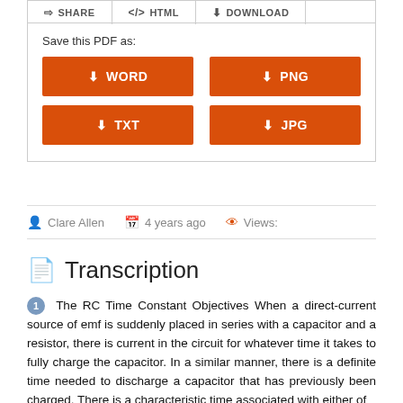SHARE  <>  HTML  DOWNLOAD
Save this PDF as:
[Figure (screenshot): Four orange download buttons: WORD, PNG, TXT, JPG]
Clare Allen   4 years ago   Views:
Transcription
The RC Time Constant Objectives When a direct-current source of emf is suddenly placed in series with a capacitor and a resistor, there is current in the circuit for whatever time it takes to fully charge the capacitor. In a similar manner, there is a definite time needed to discharge a capacitor that has previously been charged. There is a characteristic time associated with either of